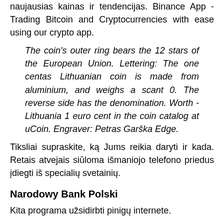naujausias kainas ir tendencijas. Binance App - Trading Bitcoin and Cryptocurrencies with ease using our crypto app.
The coin's outer ring bears the 12 stars of the European Union. Lettering: The one centas Lithuanian coin is made from aluminium, and weighs a scant 0. The reverse side has the denomination. Worth - Lithuania 1 euro cent in the coin catalog at uCoin. Engraver: Petras Garška Edge.
Tiksliai supraskite, ką Jums reikia daryti ir kada. Retais atvejais siūloma išmaniojo telefono priedus įdiegti iš specialių svetainių.
Narodowy Bank Polski
Kita programa užsidirbti pinigų internete.